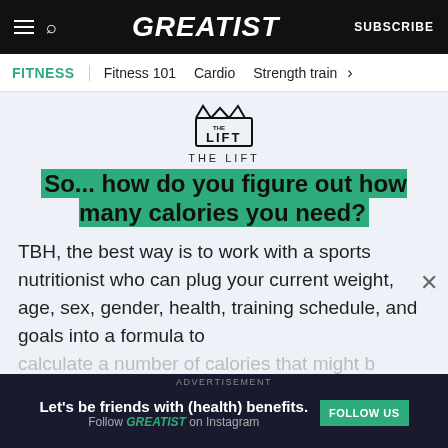GREATIST | SUBSCRIBE
FITNESS | Fitness 101 | Cardio | Strength train
[Figure (logo): THE LIFT logo with crown/spikes icon]
So... how do you figure out how many calories you need?
TBH, the best way is to work with a sports nutritionist who can plug your current weight, age, sex, gender, health, training schedule, and goals into a formula to calculate a number of calories that might b…
ADVERTISEMENT
Let's be friends with (health) benefits.
Follow GREATIST on Instagram
FOLLOW US